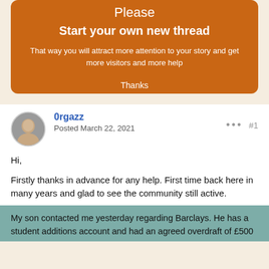Please
Start your own new thread
That way you will attract more attention to your story and get more visitors and more help
Thanks
0rgazz
Posted March 22, 2021
#1
Hi,
Firstly thanks in advance for any help. First time back here in many years and glad to see the community still active.
My son contacted me yesterday regarding Barclays. He has a student additions account and had an agreed overdraft of £500